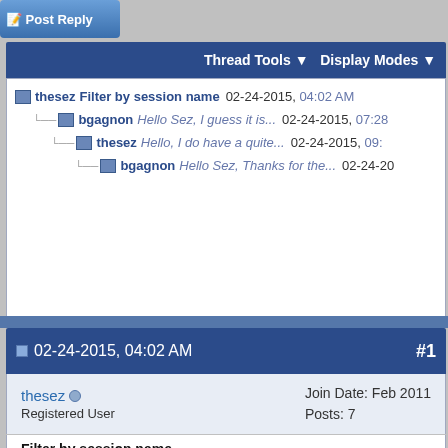Post Reply
Thread Tools ▼ Display Modes ▼
thesez Filter by session name 02-24-2015, 04:02 AM
bgagnon Hello Sez, I guess it is... 02-24-2015, 07:28
thesez Hello, I do have a quite... 02-24-2015, 09:
bgagnon Hello Sez, Thanks for the... 02-24-20
02-24-2015, 04:02 AM  #1
thesez
Registered User
Join Date: Feb 2011
Posts: 7
Filter by session name
Hello,